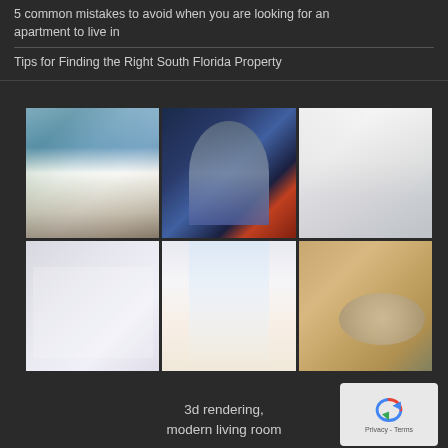5 common mistakes to avoid when you are looking for an apartment to live in
Tips for Finding the Right South Florida Property
[Figure (photo): Grid of 6 real estate and interior photos: modern white exterior house, futuristic cylindrical glass building at night, bright apartment interior, blurred bright room, modern white living room with sofa and curtains, track lighting on ceiling]
3d rendering,
modern living room